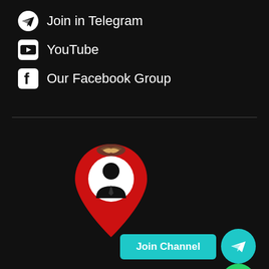Join in Telegram
YouTube
Our Facebook Group
[Figure (logo): Location pin icon with a businessman silhouette and a handshake on top, red and white colors]
Join Channel
Join Group
ABOUT US